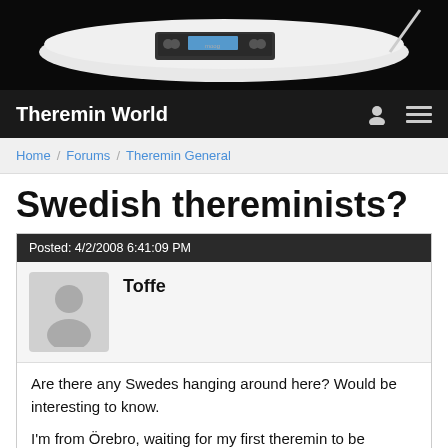[Figure (photo): Header image of a Moog theremin instrument on a black background]
Theremin World
Home / Forums / Theremin General
Swedish thereminists?
Posted: 4/2/2008 6:41:09 PM
Toffe
Are there any Swedes hanging around here? Would be interesting to know.

I'm from Örebro, waiting for my first theremin to be delivered from Thomann.
link   Report Post